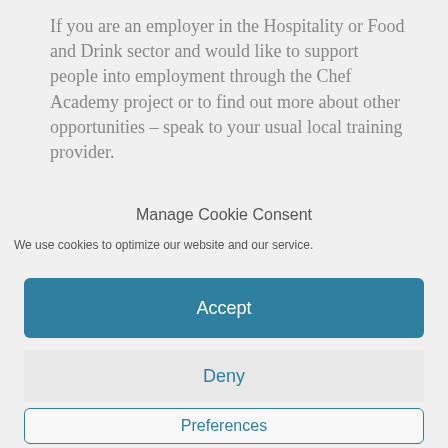If you are an employer in the Hospitality or Food and Drink sector and would like to support people into employment through the Chef Academy project or to find out more about other opportunities – speak to your usual local training provider.
Manage Cookie Consent
We use cookies to optimize our website and our service.
Accept
Deny
Preferences